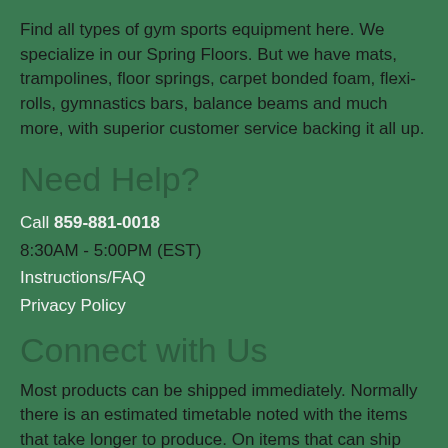Find all types of gym sports equipment here. We specialize in our Spring Floors. But we have mats, trampolines, floor springs, carpet bonded foam, flexi-rolls, gymnastics bars, balance beams and much more, with superior customer service backing it all up.
Need Help?
Call 859-881-0018
8:30AM - 5:00PM (EST)
Instructions/FAQ
Privacy Policy
Connect with Us
Most products can be shipped immediately. Normally there is an estimated timetable noted with the items that take longer to produce. On items that can ship quickly and you choose priority shipping, your order would need to be placed by noon (EST) to allow us the best opportunity to ship that day. Otherwise, the order